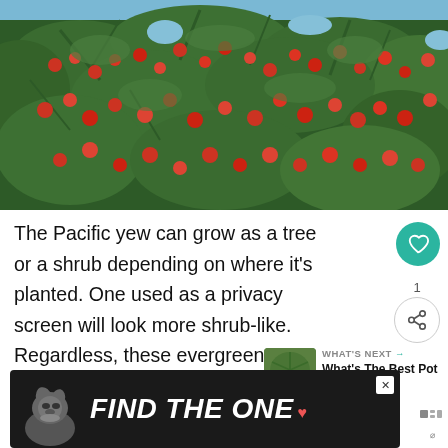[Figure (photo): Close-up photo of a Pacific yew tree with green needle-like foliage and numerous red berries against a blue sky background.]
The Pacific yew can grow as a tree or a shrub depending on where it's planted. One used as a privacy screen will look more shrub-like. Regardless, these evergreen conifers typically don't exceed 15 feet.
[Figure (other): Advertisement banner with dark background showing a dog and text 'FIND THE ONE' with a heart icon.]